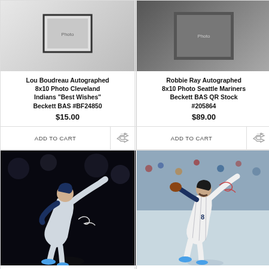[Figure (photo): Lou Boudreau autographed 8x10 photo with frame border]
Lou Boudreau Autographed 8x10 Photo Cleveland Indians "Best Wishes" Beckett BAS #BF24850
$15.00
[Figure (photo): Robbie Ray autographed 8x10 photo Seattle Mariners]
Robbie Ray Autographed 8x10 Photo Seattle Mariners Beckett BAS QR Stock #205864
$89.00
[Figure (photo): Robbie Ray pitching in dark uniform, autographed 8x10 photo Seattle Mariners]
Robbie Ray Autographed 8x10 Photo Seattle Mariners Beckett BAS QR Stock
[Figure (photo): Robbie Ray pitching in white uniform outdoors, autographed 16x20 photo Seattle Mariners]
Robbie Ray Autographed 16x20 Photo Seattle Mariners Beckett BAS QR